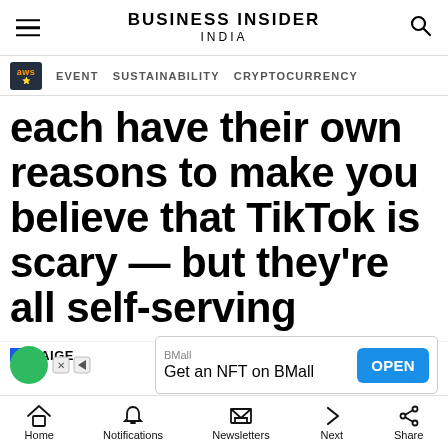BUSINESS INSIDER INDIA
EVENT  SUSTAINABILITY  CRYPTOCURRENCY
each have their own reasons to make you believe that TikTok is scary — but they're all self-serving
PAIGE
[Figure (screenshot): BMall advertisement banner: 'Get an NFT on BMall' with OPEN button]
Home  Notifications  Newsletters  Next  Share